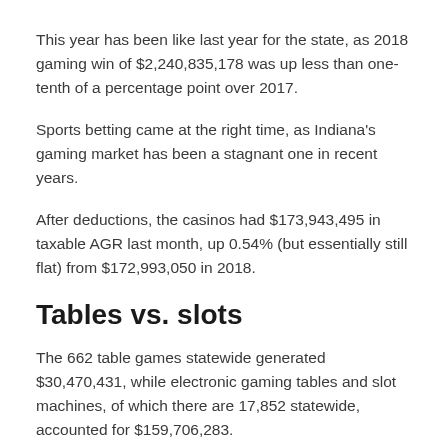This year has been like last year for the state, as 2018 gaming win of $2,240,835,178 was up less than one-tenth of a percentage point over 2017.
Sports betting came at the right time, as Indiana's gaming market has been a stagnant one in recent years.
After deductions, the casinos had $173,943,495 in taxable AGR last month, up 0.54% (but essentially still flat) from $172,993,050 in 2018.
Tables vs. slots
The 662 table games statewide generated $30,470,431, while electronic gaming tables and slot machines, of which there are 17,852 statewide, accounted for $159,706,283.